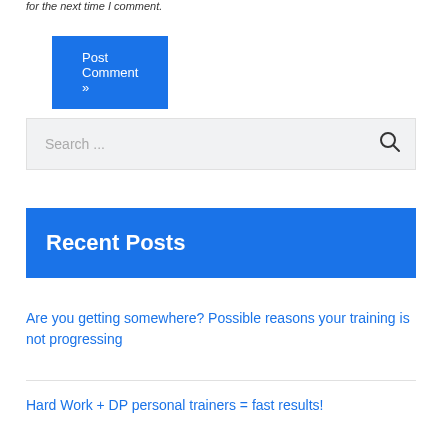for the next time I comment.
Post Comment »
Search ...
Recent Posts
Are you getting somewhere? Possible reasons your training is not progressing
Hard Work + DP personal trainers = fast results!